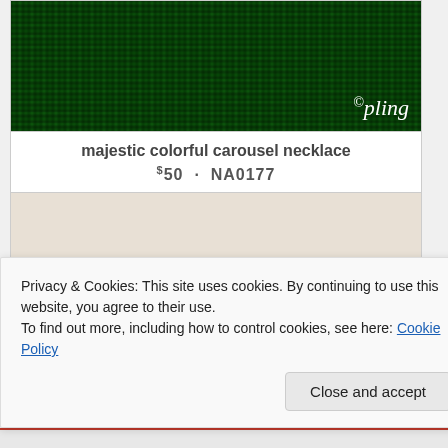[Figure (photo): Product photo showing green grass background with 'pling' watermark logo in white cursive text]
majestic colorful carousel necklace
$50 · NA0177
[Figure (photo): Photo of two black flat shoes with leopard print interior lining displayed open/facing up]
Privacy & Cookies: This site uses cookies. By continuing to use this website, you agree to their use.
To find out more, including how to control cookies, see here: Cookie Policy
Close and accept